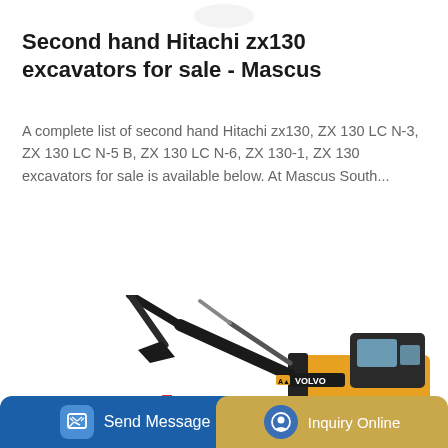[Figure (photo): Partial view of a Hitachi excavator logo/image at top of page]
Second hand Hitachi zx130 excavators for sale - Mascus
A complete list of second hand Hitachi zx130, ZX 130 LC N-3, ZX 130 LC N-5 B, ZX 130 LC N-6, ZX 130-1, ZX 130 excavators for sale is available below. At Mascus South...
Learn More
[Figure (photo): Volvo excavator (compact, yellow and black) on white background]
Send Message
Inquiry Online